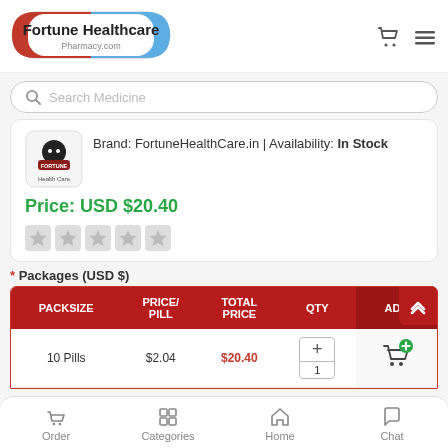[Figure (logo): Fortune Healthcare Pharmacy.com pill-shaped logo with red and blue colors]
Search Medicine
Brand: FortuneHealthCare.in | Availability: In Stock
Price: USD $20.40
* Packages (USD $)
| PACKSIZE | PRICE/ PILL | TOTAL PRICE | QTY | ADD |
| --- | --- | --- | --- | --- |
| 10 Pills | $2.04 | $20.40 | 1 | add-to-cart |
Order | Categories | Home | Chat